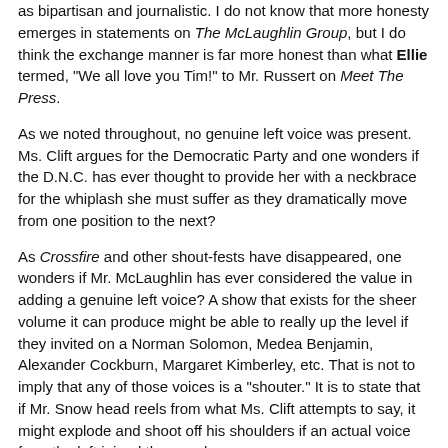as bipartisan and journalistic. I do not know that more honesty emerges in statements on The McLaughlin Group, but I do think the exchange manner is far more honest than what Ellie termed, "We all love you Tim!" to Mr. Russert on Meet The Press.
As we noted throughout, no genuine left voice was present. Ms. Clift argues for the Democratic Party and one wonders if the D.N.C. has ever thought to provide her with a neckbrace for the whiplash she must suffer as they dramatically move from one position to the next?
As Crossfire and other shout-fests have disappeared, one wonders if Mr. McLaughlin has ever considered the value in adding a genuine left voice? A show that exists for the sheer volume it can produce might be able to really up the level if they invited on a Norman Solomon, Medea Benjamin, Alexander Cockburn, Margaret Kimberley, etc. That is not to imply that any of those voices is a "shouter." It is to state that if Mr. Snow head reels from what Ms. Clift attempts to say, it might explode and shoot off his shoulders if an actual voice from the left joined the panel.